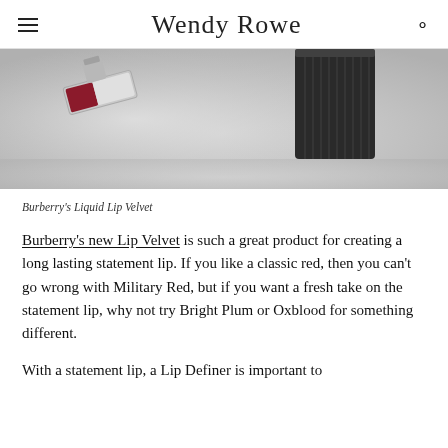Wendy Rowe
[Figure (photo): Product photo of Burberry Liquid Lip Velvet cosmetic items on a light grey background, showing packaging with a red lip swatch and dark ridged cylindrical container.]
Burberry's Liquid Lip Velvet
Burberry's new Lip Velvet is such a great product for creating a long lasting statement lip. If you like a classic red, then you can't go wrong with Military Red, but if you want a fresh take on the statement lip, why not try Bright Plum or Oxblood for something different.
With a statement lip, a Lip Definer is important to